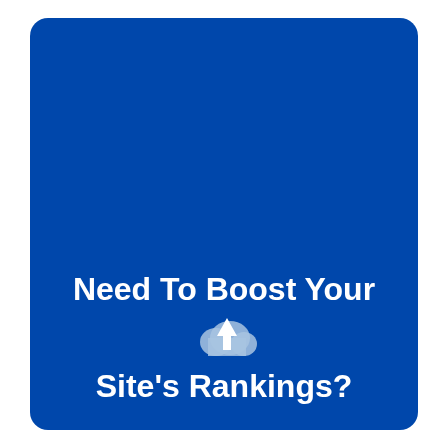[Figure (illustration): Large blue rounded rectangle card with white bold text at the bottom reading 'Need To Boost Your Site's Rankings?' with a light blue cloud upload icon next to the first line.]